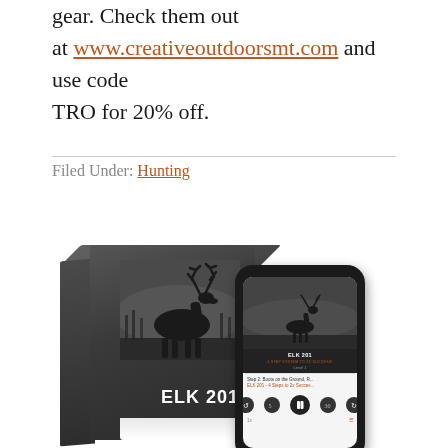gear. Check them out at www.creativeoutdoorsmt.com and use code TRO for 20% off.
Filed Under: Hunting
[Figure (illustration): Product image showing an ELK 201 - 4 Step System to 2x Success audio/digital course box with a dark cover featuring an elk silhouette, alongside a smartphone displaying the course content app screen with playback controls.]